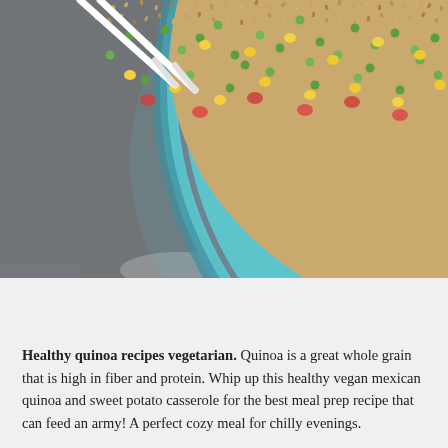[Figure (photo): Overhead photo of a teal/turquoise plate filled with quinoa mixed with corn, green peas, and other vegetables, on a dark stone surface. White chopsticks visible at top left.]
PREVIOUS POST
NEXT POST
Healthy quinoa recipes vegetarian. Quinoa is a great whole grain that is high in fiber and protein. Whip up this healthy vegan mexican quinoa and sweet potato casserole for the best meal prep recipe that can feed an army! A perfect cozy meal for chilly evenings.